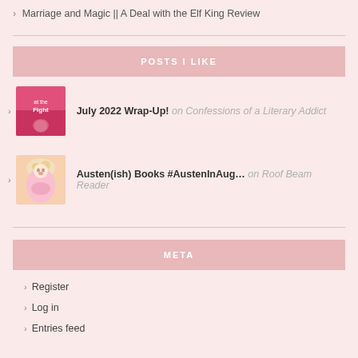> Marriage and Magic || A Deal with the Elf King Review
POSTS I LIKE
July 2022 Wrap-Up! on Confessions of a Literary Addict
Austen(ish) Books #AustenInAug... on Roof Beam Reader
META
> Register
> Log in
> Entries feed